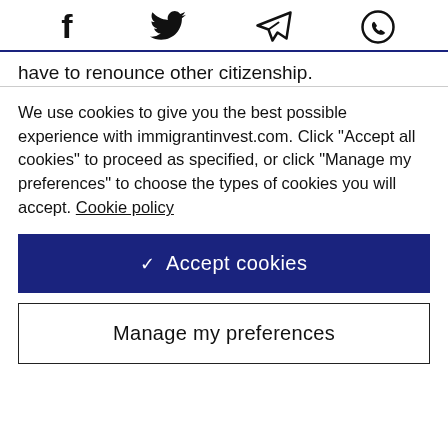f  Twitter  Send  WhatsApp (social share icons)
have to renounce other citizenship.
We use cookies to give you the best possible experience with immigrantinvest.com. Click "Accept all cookies" to proceed as specified, or click "Manage my preferences" to choose the types of cookies you will accept. Cookie policy
✓  Accept cookies
Manage my preferences